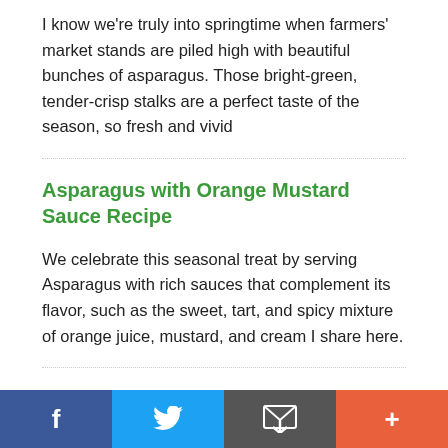I know we're truly into springtime when farmers' market stands are piled high with beautiful bunches of asparagus. Those bright-green, tender-crisp stalks are a perfect taste of the season, so fresh and vivid
Asparagus with Orange Mustard Sauce Recipe
We celebrate this seasonal treat by serving Asparagus with rich sauces that complement its flavor, such as the sweet, tart, and spicy mixture of orange juice, mustard, and cream I share here.
Roasted Asparagus with Citrus Vinaigrette
Asparagus is equally delicious steamed, boiled,
Social share bar: Facebook, Twitter, Email, Plus